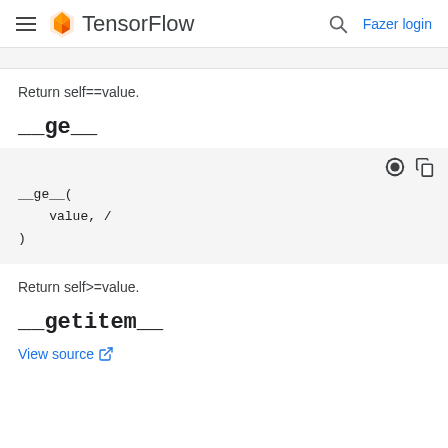TensorFlow — Fazer login
Return self==value.
__ge__
__ge__(
    value, /
)
Return self>=value.
__getitem__
View source